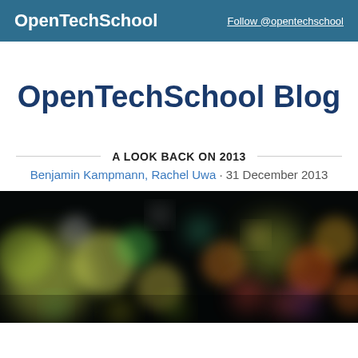OpenTechSchool   Follow @opentechschool
OpenTechSchool Blog
A LOOK BACK ON 2013
Benjamin Kampmann, Rachel Uwa · 31 December 2013
[Figure (photo): Blurred bokeh photo of colorful city lights at night — green, yellow, orange, pink, and white bokeh circles against a dark background.]